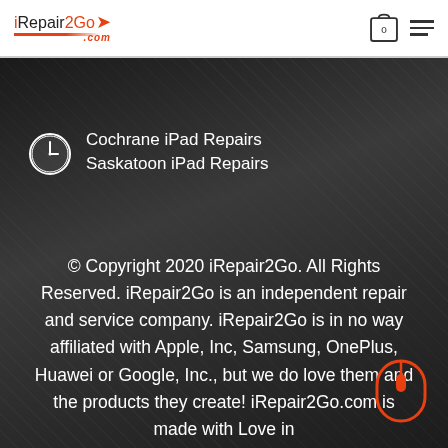[Figure (logo): iRepair2Go logo with italic bold text and red arrow, red underline accent, and '.com' text]
[Figure (other): Shopping cart icon with 0 count badge and hamburger menu icon]
Cochrane iPad Repairs
Saskatoon iPad Repairs
© Copyright 2020 iRepair2Go. All Rights Reserved. iRepair2Go is an independent repair and service company. iRepair2Go is in no way affiliated with Apple, Inc, Samsung, OnePlus, Huawei or Google, Inc., but we do love them and the products they create! iRepair2Go.com is made with Love in
[Figure (illustration): Orange mouse icon outline on the right side]